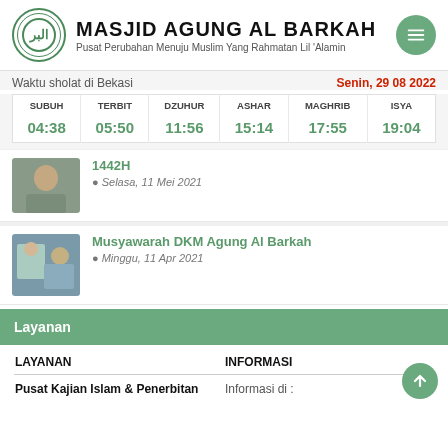MASJID AGUNG AL BARKAH
Pusat Perubahan Menuju Muslim Yang Rahmatan Lil 'Alamin
Waktu sholat di Bekasi
Senin, 29 08 2022
| SUBUH | TERBIT | DZUHUR | ASHAR | MAGHRIB | ISYA |
| --- | --- | --- | --- | --- | --- |
| 04:38 | 05:50 | 11:56 | 15:14 | 17:55 | 19:04 |
[Figure (photo): Thumbnail image of a person]
1442H
Selasa, 11 Mei 2021
[Figure (photo): Thumbnail image of people in a meeting]
Musyawarah DKM Agung Al Barkah
Minggu, 11 Apr 2021
Layanan
| LAYANAN | INFORMASI |
| --- | --- |
| Pusat Kajian Islam & Penerbitan | Informasi di : |